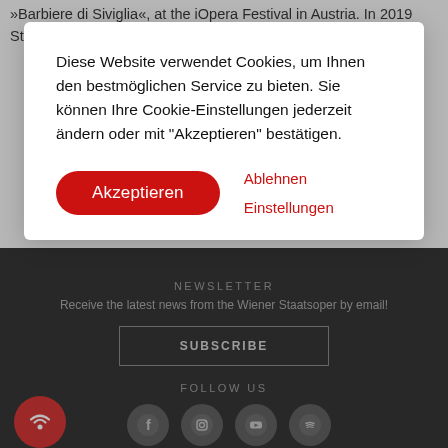»Barbiere di Siviglia«, at the iOpera Festival in Austria. In 2019 Stefan
Diese Website verwendet Cookies, um Ihnen den bestmöglichen Service zu bieten. Sie können Ihre Cookie-Einstellungen jederzeit ändern oder mit "Akzeptieren" bestätigen.
Akzeptieren
Ablehnen
Einstellungen
NEWSLETTER
Receive the latest news from the Wiener Staatsoper by email!
SUBSCRIBE
FOLLOW US
[Figure (logo): Red circle with white wifi/broadcast icon - Wiener Staatsoper logo]
[Figure (infographic): Social media icons: Facebook, Instagram, YouTube, Spotify - gray circles]